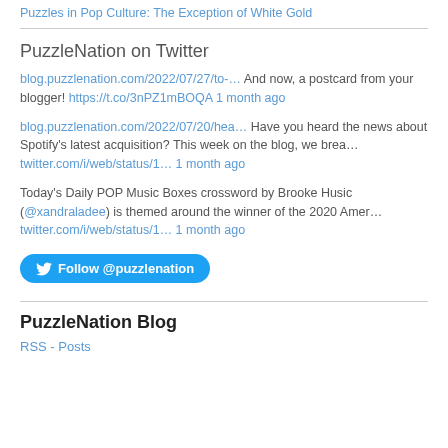Puzzles in Pop Culture: The Exception of White Gold
PuzzleNation on Twitter
blog.puzzlenation.com/2022/07/27/to-… And now, a postcard from your blogger! https://t.co/3nPZ1mBOQA 1 month ago
blog.puzzlenation.com/2022/07/20/hea… Have you heard the news about Spotify's latest acquisition? This week on the blog, we brea… twitter.com/i/web/status/1… 1 month ago
Today's Daily POP Music Boxes crossword by Brooke Husic (@xandraladee) is themed around the winner of the 2020 Amer… twitter.com/i/web/status/1… 1 month ago
Follow @puzzlenation
PuzzleNation Blog
RSS - Posts